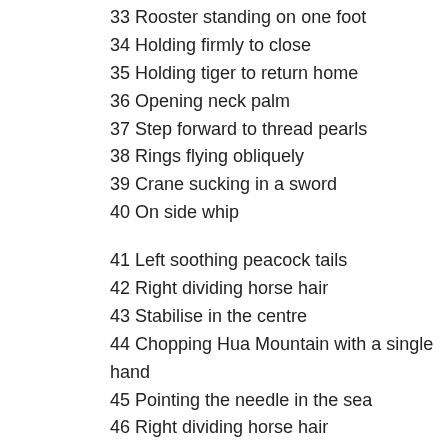33 Rooster standing on one foot
34 Holding firmly to close
35 Holding tiger to return home
36 Opening neck palm
37 Step forward to thread pearls
38 Rings flying obliquely
39 Crane sucking in a sword
40 On side whip
41 Left soothing peacock tails
42 Right dividing horse hair
43 Stabilise in the centre
44 Chopping Hua Mountain with a single hand
45 Pointing the needle in the sea
46 Right dividing horse hair
47 Exploring sea with a needle
48 Pull arrow to shoot a tiger
49 Calming internal palms
50 Step forward to divide horse hair